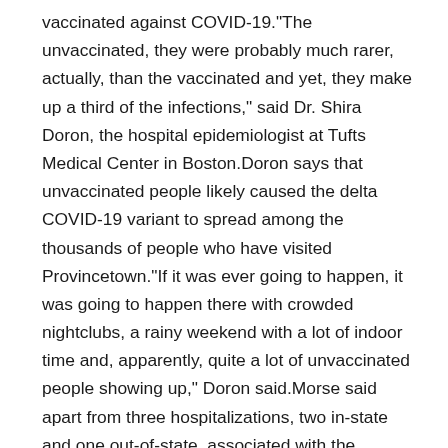vaccinated against COVID-19."The unvaccinated, they were probably much rarer, actually, than the vaccinated and yet, they make up a third of the infections," said Dr. Shira Doron, the hospital epidemiologist at Tufts Medical Center in Boston.Doron says that unvaccinated people likely caused the delta COVID-19 variant to spread among the thousands of people who have visited Provincetown."If it was ever going to happen, it was going to happen there with crowded nightclubs, a rainy weekend with a lot of indoor time and, apparently, quite a lot of unvaccinated people showing up," Doron said.Morse said apart from three hospitalizations, two in-state and one out-of-state, associated with the Provincetown cluster, symptoms are known to be mild and without complication.The cluster comes as discussions continue about whether COVID-19 booster shots are necessary for fully-vaccinated people in the United States. Since the vast majority of breakthrough cases are mild and since data has not suggested immunity is waning over time, Doron says boosters are not needed at this time."If it's a mild infection, if it's a common cold or a flu, does that justify going around and giving everybody